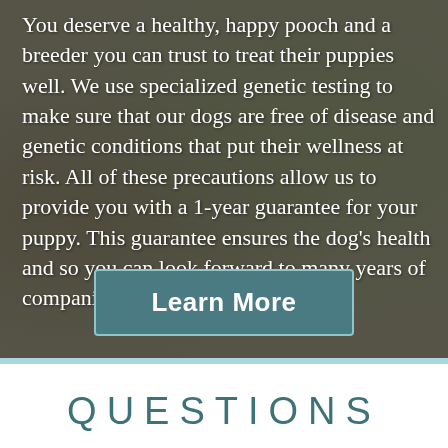You deserve a healthy, happy pooch and a breeder you can trust to treat their puppies well. We use specialized genetic testing to make sure that our dogs are free of disease and genetic conditions that put their wellness at risk. All of these precautions allow us to provide you with a 1-year guarantee for your puppy. This guarantee ensures the dog's health and so you can look forward to many years of companionship with your new pup.
[Figure (other): A teal/dark-teal rectangular button with white border reading 'Learn More' in bold white sans-serif text, overlaid on a blurred outdoor background photo.]
QUESTIONS